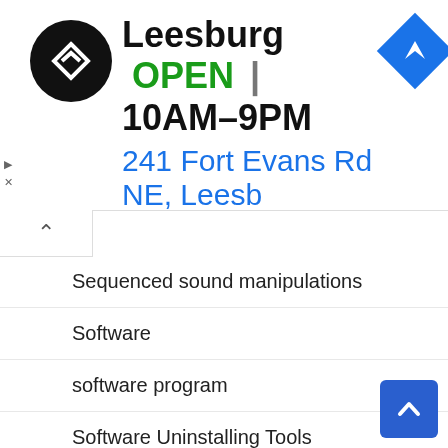[Figure (screenshot): Ad banner for Leesburg store showing logo, OPEN status, hours 10AM-9PM, address 241 Fort Evans Rd NE, Leesb, and navigation icon]
Sequenced sound manipulations
Software
software program
Software Uninstalling Tools
Sound Editor
Sound-design tool
Special